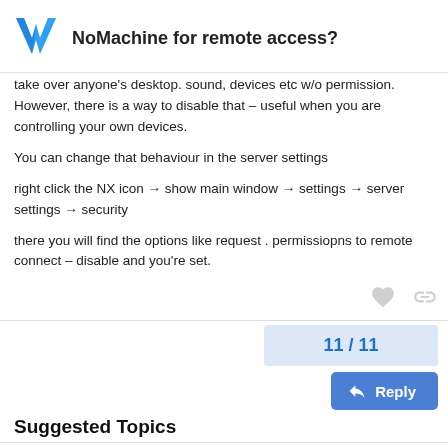NoMachine for remote access?
take over anyone's desktop. sound, devices etc w/o permission. However, there is a way to disable that – useful when you are controlling your own devices.
You can change that behaviour in the server settings
right click the NX icon → show main window → settings → server settings → security
there you will find the options like request . permissiopns to remote connect – disable and you're set.
11 / 11
Reply
Suggested Topics
Headless server setup